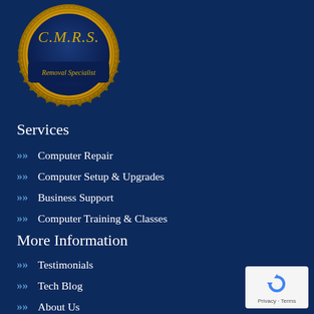[Figure (logo): C.M.R.S. Removal Specialist gold badge/seal logo on dark blue background]
Services
Computer Repair
Computer Setup & Upgrades
Business Support
Computer Training & Classes
More Information
Testimonials
Tech Blog
About Us
Contact Us
[Figure (logo): reCAPTCHA badge with Privacy and Terms links]